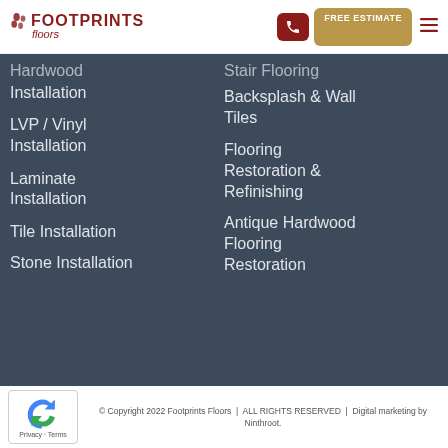[Figure (logo): Footprints Floors logo with footprint icon, dark red brand name in uppercase and italic 'floors' subtitle]
[Figure (other): Phone button (dark red rounded square), FREE ESTIMATE button (tan/gold), and hamburger menu icon (dark red)]
Hardwood Installation
LVP / Vinyl Installation
Laminate Installation
Tile Installation
Stone Installation
Stair Flooring
Backsplash & Wall Tiles
Flooring Restoration & Refinishing
Antique Hardwood Flooring Restoration
© Copyright 2022 Footprints Floors  |  ALL RIGHTS RESERVED  |  Digital marketing by Ninthroot.